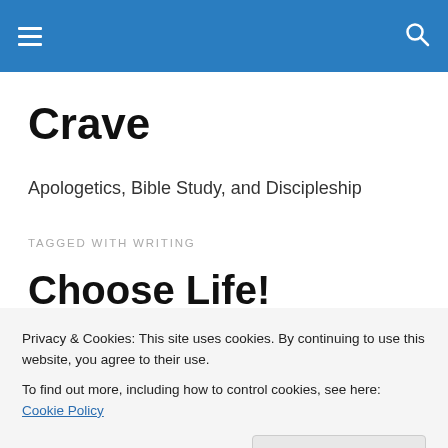Crave — navigation bar with hamburger menu and search icon
Crave
Apologetics, Bible Study, and Discipleship
TAGGED WITH WRITING
Choose Life!
[Figure (photo): Partial photo of a person, cropped, visible at the bottom right of the page]
Privacy & Cookies: This site uses cookies. By continuing to use this website, you agree to their use.
To find out more, including how to control cookies, see here: Cookie Policy
Close and accept